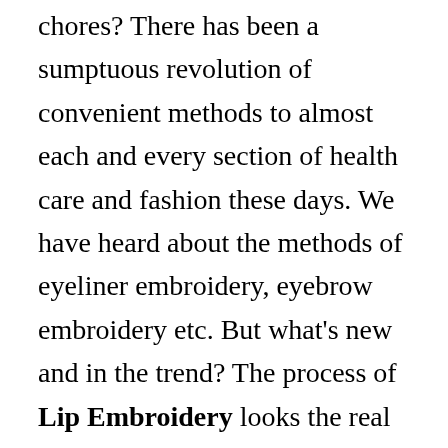chores? There has been a sumptuous revolution of convenient methods to almost each and every section of health care and fashion these days. We have heard about the methods of eyeliner embroidery, eyebrow embroidery etc. But what's new and in the trend? The process of Lip Embroidery looks the real deal these days for the women. Not every woman is born with glossy and nubile lips. So she definitely desires a proper, time-saving as well as a convenient way of maintaining her lips no matter what. Gone are